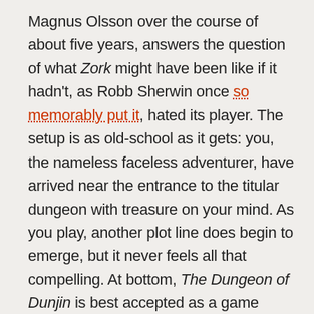Magnus Olsson over the course of about five years, answers the question of what Zork might have been like if it hadn't, as Robb Sherwin once so memorably put it, hated its player. The setup is as old-school as it gets: you, the nameless faceless adventurer, have arrived near the entrance to the titular dungeon with treasure on your mind. As you play, another plot line does begin to emerge, but it never feels all that compelling. At bottom, The Dungeon of Dunjin is best accepted as a game about looting a landscape and dropping your spoils in a repository for points — a concept that was beginning to feel a little retro already by the time Infocom left Zork behind in 1983. Olsson's 1991 backward glance comes complete with a sprawling geography of some 180 rooms, filled with locations that in typically old-school fashion often fail to connect with one another in the expected ways; going south and then going north, in other